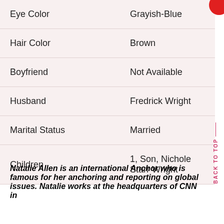| Attribute | Value |
| --- | --- |
| Eye Color | Grayish-Blue |
| Hair Color | Brown |
| Boyfriend | Not Available |
| Husband | Fredrick Wright |
| Marital Status | Married |
| Children | 1, Son, Nichole Starr Wright |
Natalie Allen is an international Anchor who is famous for her anchoring and reporting on global issues. Natalie works at the headquarters of CNN in